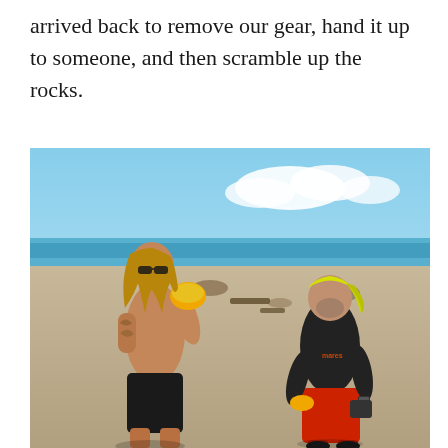arrived back to remove our gear, hand it up to someone, and then scramble up the rocks.
[Figure (photo): Two men standing on a rocky beach. The man on the left is shirtless with tattoos, wearing black shorts, and holding a yellow object. The man on the right is wearing a black Mares rash guard and red shorts, with a yellow bandana on his head, also holding a yellow object. The ocean and blue sky with clouds are visible in the background.]